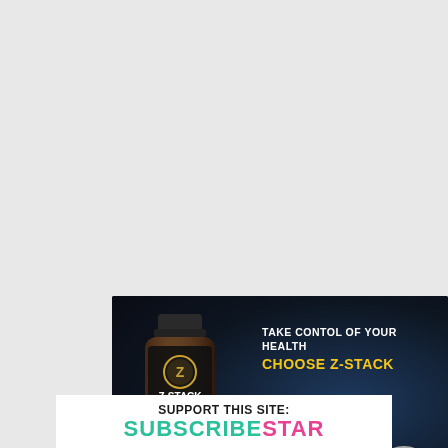[Figure (illustration): Advertisement for Z-Stack supplement by Dr. Zelenko. Dark blue/black background with a brown supplement bottle labeled Z-STACK on the left, bold white and yellow text reading TAKE CONTOL OF YOUR HEALTH / CHOOSE Z-STACK on the right, a circular photo of a bearded doctor in a white coat in the bottom right, and text TRY THE ZELENKO PROTOCOL along the bottom.]
SUPPORT THIS SITE: SUBSCRIBESTAR